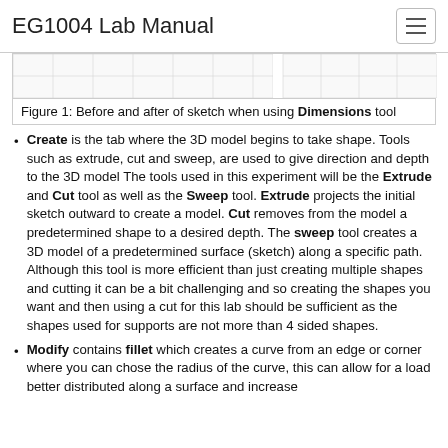EG1004 Lab Manual
[Figure (screenshot): Before and after grid/table screenshot showing sketch when using Dimensions tool]
Figure 1: Before and after of sketch when using Dimensions tool
Create is the tab where the 3D model begins to take shape. Tools such as extrude, cut and sweep, are used to give direction and depth to the 3D model The tools used in this experiment will be the Extrude and Cut tool as well as the Sweep tool. Extrude projects the initial sketch outward to create a model. Cut removes from the model a predetermined shape to a desired depth. The sweep tool creates a 3D model of a predetermined surface (sketch) along a specific path. Although this tool is more efficient than just creating multiple shapes and cutting it can be a bit challenging and so creating the shapes you want and then using a cut for this lab should be sufficient as the shapes used for supports are not more than 4 sided shapes.
Modify contains fillet which creates a curve from an edge or corner where you can chose the radius of the curve, this can allow for a load better distributed along a surface and increase strength.